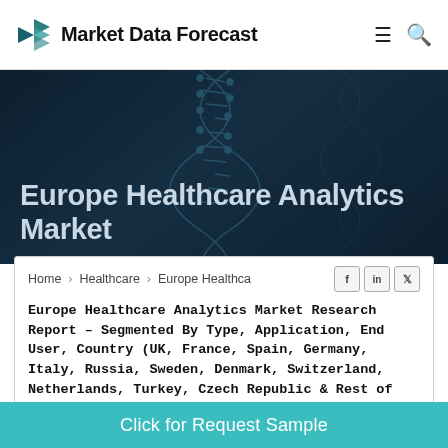Market Data Forecast
[Figure (illustration): Hero banner with dark blue DNA/molecular background and large white text reading 'Europe Healthcare Analytics Market']
Europe Healthcare Analytics Market
Home > Healthcare > Europe Healthca
Europe Healthcare Analytics Market Research Report – Segmented By Type, Application, End User, Country (UK, France, Spain, Germany, Italy, Russia, Sweden, Denmark, Switzerland, Netherlands, Turkey, Czech Republic & Rest of EU) - Industry Analysis on Size, Share, Trends, COVID-19 Impact & Growth Forecast (2022 to 2027)
Click for Request Sample